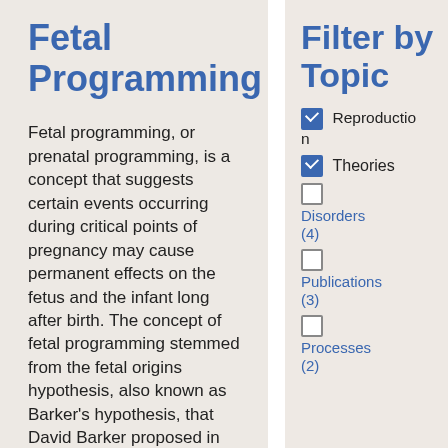Fetal Programming
Fetal programming, or prenatal programming, is a concept that suggests certain events occurring during critical points of pregnancy may cause permanent effects on the fetus and the infant long after birth. The concept of fetal programming stemmed from the fetal origins hypothesis, also known as Barker's hypothesis, that David Barker proposed in 1995 at the University of
Filter by Topic
[checked] Reproduction
[checked] Theories
[unchecked] Disorders (4)
[unchecked] Publications (3)
[unchecked] Processes (2)